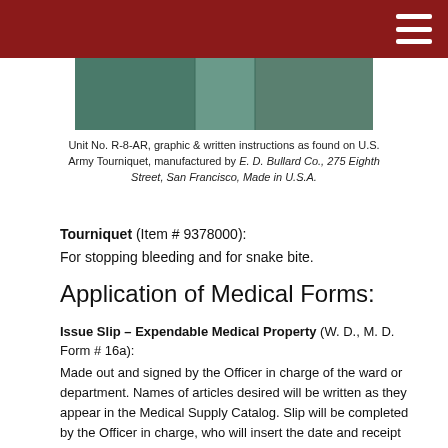[Figure (photo): Photograph strip showing U.S. Army Tourniquet Unit No. R-8-AR with graphic and written instructions]
Unit No. R-8-AR, graphic & written instructions as found on U.S. Army Tourniquet, manufactured by E. D. Bullard Co., 275 Eighth Street, San Francisco, Made in U.S.A.
Tourniquet (Item # 9378000):
For stopping bleeding and for snake bite.
Application of Medical Forms:
Issue Slip – Expendable Medical Property (W. D., M. D. Form # 16a):
Made out and signed by the Officer in charge of the ward or department. Names of articles desired will be written as they appear in the Medical Supply Catalog. Slip will be completed by the Officer in charge, who will insert the date and receipt same. Filed at the Medical Supply office.